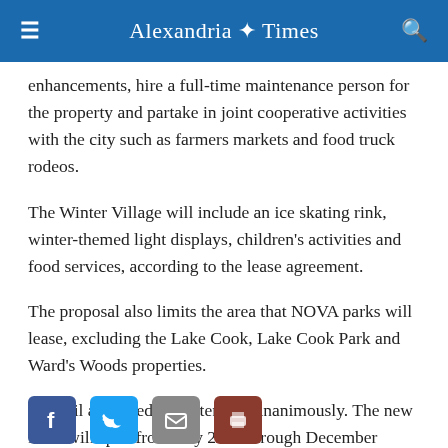Alexandria Times
enhancements, hire a full-time maintenance person for the property and partake in joint cooperative activities with the city such as farmers markets and food truck rodeos.
The Winter Village will include an ice skating rink, winter-themed light displays, children's activities and food services, according to the lease agreement.
The proposal also limits the area that NOVA parks will lease, excluding the Lake Cook, Lake Cook Park and Ward's Woods properties.
Council approved the extension unanimously. The new lease will span from July 2021 through December 2028.
[Figure (other): Social media sharing icons: Facebook, Twitter, Email, Print]